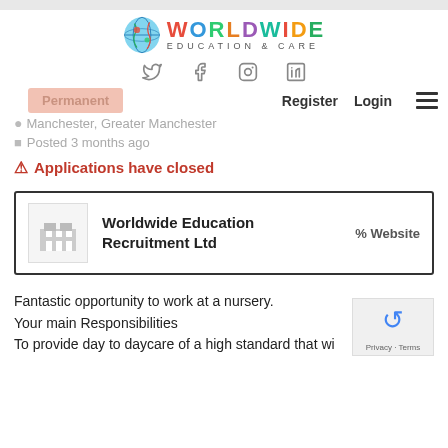[Figure (logo): Worldwide Education & Care logo with globe graphic and colorful text]
[Figure (infographic): Social media icons: Twitter, Facebook, Instagram, LinkedIn]
Permanent
Register   Login   ☰
Manchester, Greater Manchester
Posted 3 months ago
Applications have closed
Worldwide Education Recruitment Ltd   % Website
Fantastic opportunity to work at a nursery.
Your main Responsibilities
To provide day to daycare of a high standard that will